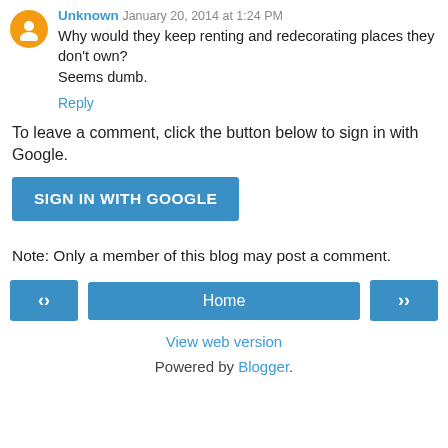Unknown January 20, 2014 at 1:24 PM
Why would they keep renting and redecorating places they don't own?
Seems dumb.
Reply
To leave a comment, click the button below to sign in with Google.
SIGN IN WITH GOOGLE
Note: Only a member of this blog may post a comment.
< Home > View web version
Powered by Blogger.